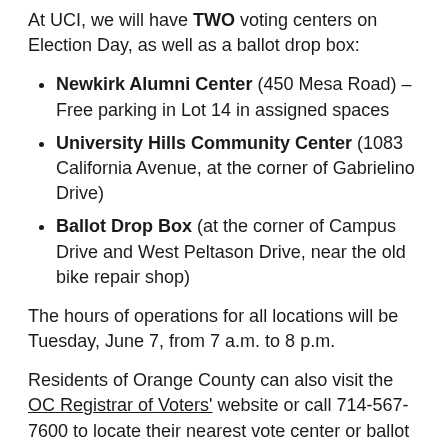At UCI, we will have TWO voting centers on Election Day, as well as a ballot drop box:
Newkirk Alumni Center (450 Mesa Road) – Free parking in Lot 14 in assigned spaces
University Hills Community Center (1083 California Avenue, at the corner of Gabrielino Drive)
Ballot Drop Box (at the corner of Campus Drive and West Peltason Drive, near the old bike repair shop)
The hours of operations for all locations will be Tuesday, June 7, from 7 a.m. to 8 p.m.
Residents of Orange County can also visit the OC Registrar of Voters' website or call 714-567-7600 to locate their nearest vote center or ballot drop box. Additional voting information can be found online from the California Secretary of State.
It's important that you vote. If you are doing so by mail, take a moment today to fill out and mail your ballot. All